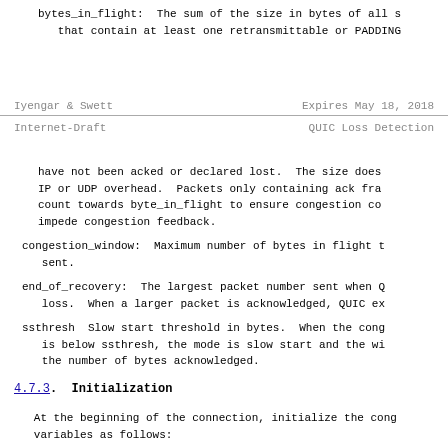bytes_in_flight:  The sum of the size in bytes of all s
   that contain at least one retransmittable or PADDING
Iyengar & Swett                    Expires May 18, 2018
Internet-Draft                     QUIC Loss Detection
have not been acked or declared lost.  The size does
IP or UDP overhead.  Packets only containing ack fra
count towards byte_in_flight to ensure congestion co
impede congestion feedback.
congestion_window:  Maximum number of bytes in flight t
   sent.
end_of_recovery:  The largest packet number sent when Q
   loss.  When a larger packet is acknowledged, QUIC ex
ssthresh  Slow start threshold in bytes.  When the cong
   is below ssthresh, the mode is slow start and the wi
   the number of bytes acknowledged.
4.7.3.  Initialization
At the beginning of the connection, initialize the cong
variables as follows: